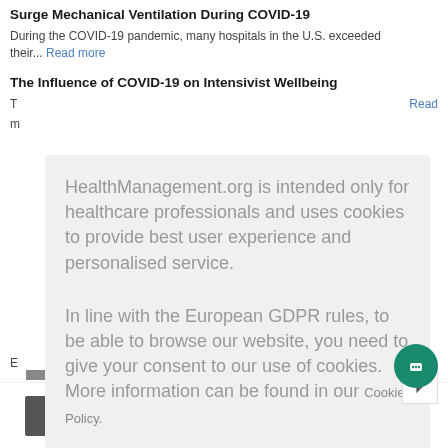Surge Mechanical Ventilation During COVID-19
During the COVID-19 pandemic, many hospitals in the U.S. exceeded their... Read more
The Influence of COVID-19 on Intensivist Wellbeing
T... Read m
HealthManagement.org is intended only for healthcare professionals and uses cookies to provide best user experience and personalised service.

In line with the European GDPR rules, to be able to browse our website, you need to give your consent to our use of cookies. More information can be found in our Cookie Policy.
I am a healthcare professional and consent to the use of cookies